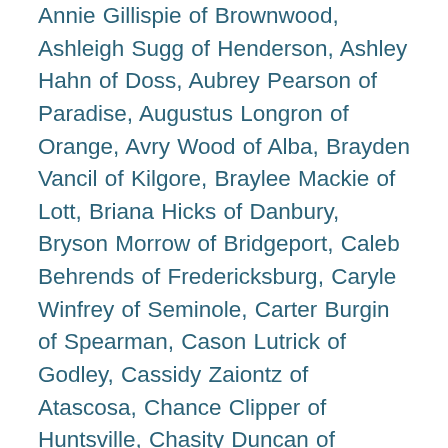Annie Gillispie of Brownwood, Ashleigh Sugg of Henderson, Ashley Hahn of Doss, Aubrey Pearson of Paradise, Augustus Longron of Orange, Avry Wood of Alba, Brayden Vancil of Kilgore, Braylee Mackie of Lott, Briana Hicks of Danbury, Bryson Morrow of Bridgeport, Caleb Behrends of Fredericksburg, Caryle Winfrey of Seminole, Carter Burgin of Spearman, Cason Lutrick of Godley, Cassidy Zaiontz of Atascosa, Chance Clipper of Huntsville, Chasity Duncan of Conroe, Clara Steglich of Holland, Clayton Eckhardt of New Braunfels, Colten Fisher of Wylie, Coltin Walton of Conroe, Colton Ripley of Franklin, Coy Harris of Cooper, Dayton Wood of Cumby, Dylan Chilcutt of Weatherford, Elisa DeLong of Fredericksburg, Gracie Hawkins of Livingston, Hadley Brooks of Krum, Hagan